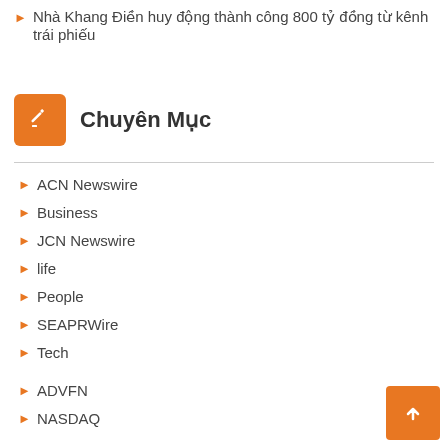Nhà Khang Điền huy động thành công 800 tỷ đồng từ kênh trái phiếu
Chuyên Mục
ACN Newswire
Business
JCN Newswire
life
People
SEAPRWire
Tech
ADVFN
NASDAQ
Bloomberg
Newswire